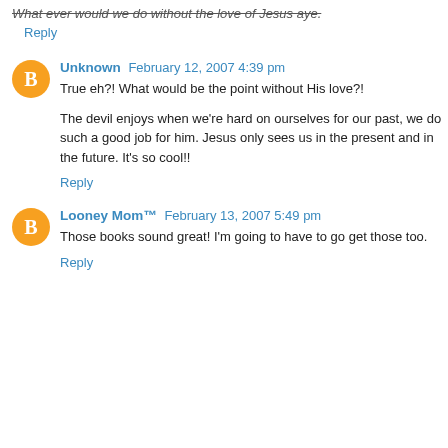What ever would we do without the love of Jesus aye.
Reply
Unknown February 12, 2007 4:39 pm
True eh?! What would be the point without His love?!
The devil enjoys when we're hard on ourselves for our past, we do such a good job for him. Jesus only sees us in the present and in the future. It's so cool!!
Reply
Looney Mom™ February 13, 2007 5:49 pm
Those books sound great! I'm going to have to go get those too.
Reply